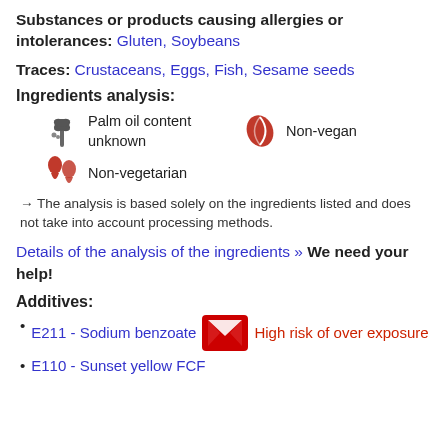Substances or products causing allergies or intolerances: Gluten, Soybeans
Traces: Crustaceans, Eggs, Fish, Sesame seeds
Ingredients analysis:
Palm oil content unknown
Non-vegan
Non-vegetarian
→ The analysis is based solely on the ingredients listed and does not take into account processing methods.
Details of the analysis of the ingredients » We need your help!
Additives:
E211 - Sodium benzoate  High risk of over exposure
E110 - Sunset yellow FCF